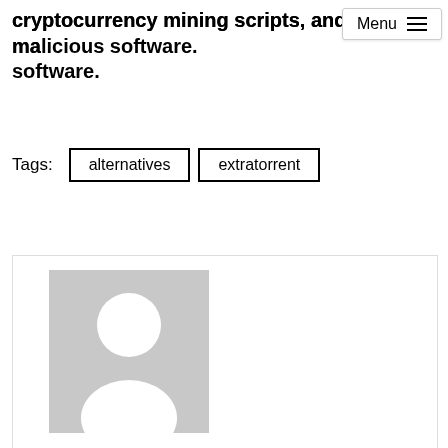cryptocurrency mining scripts, and malicious software.
Tags: alternatives extratorrent
[Figure (photo): Default user avatar placeholder image showing a grey silhouette of a person on a grey background, inside a bordered card.]